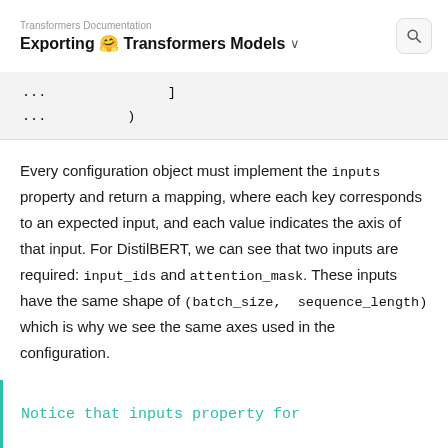Transformers Documentation
Exporting 🤗 Transformers Models
...	]
...	)
Every configuration object must implement the inputs property and return a mapping, where each key corresponds to an expected input, and each value indicates the axis of that input. For DistilBERT, we can see that two inputs are required: input_ids and attention_mask. These inputs have the same shape of (batch_size, sequence_length) which is why we see the same axes used in the configuration.
Notice that inputs property for